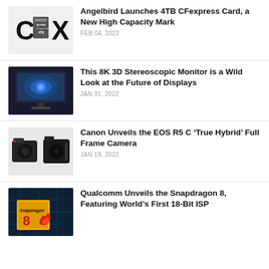[Figure (photo): Angelbird 4TB CFexpress card with C and X logo marks on light gray background]
Angelbird Launches 4TB CFexpress Card, a New High Capacity Mark
FEB 04, 2022
[Figure (photo): 8K 3D stereoscopic monitor displaying a blue mechanical engine render on dark background]
This 8K 3D Stereoscopic Monitor is a Wild Look at the Future of Displays
JAN 31, 2022
[Figure (photo): Two Canon EOS R5 C cameras side by side on light background]
Canon Unveils the EOS R5 C ‘True Hybrid’ Full Frame Camera
JAN 19, 2022
[Figure (photo): Snapdragon 8 chip on blue circuit board background]
Qualcomm Unveils the Snapdragon 8, Featuring World’s First 18-Bit ISP